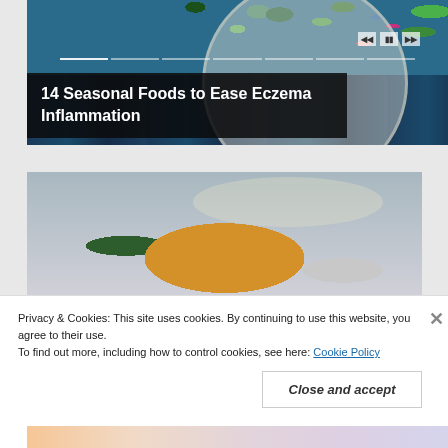[Figure (photo): Carousel image showing colorful fruits and vegetables on a dark wooden table with a plate, with media playback controls visible]
14 Seasonal Foods to Ease Eczema Inflammation
[Figure (photo): Photo of a blonde woman in a yellow sweater looking down at her arm, possibly examining skin]
Privacy & Cookies: This site uses cookies. By continuing to use this website, you agree to their use.
To find out more, including how to control cookies, see here: Cookie Policy
Close and accept